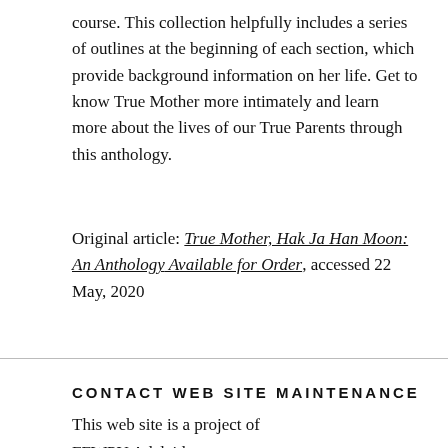course. This collection helpfully includes a series of outlines at the beginning of each section, which provide background information on her life. Get to know True Mother more intimately and learn more about the lives of our True Parents through this anthology.
Original article: True Mother, Hak Ja Han Moon: An Anthology Available for Order, accessed 22 May, 2020
CONTACT WEB SITE MAINTENANCE
This web site is a project of
FFWPU Adelaide
Tel/SMS: +61 495 549226